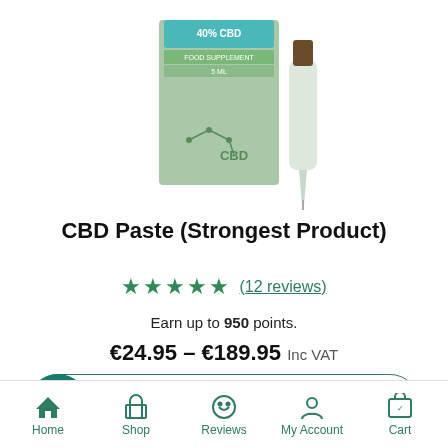[Figure (photo): CBD Paste product image showing a green box labeled '40% CBD Food Supplement 5ml' with CBD molecular structure, alongside a dropper bottle]
CBD Paste (Strongest Product)
★★★★★ (12 reviews)
Earn up to 950 points.
€24.95 – €189.95 Inc VAT
Select options
Home  Shop  Reviews  My Account  Cart